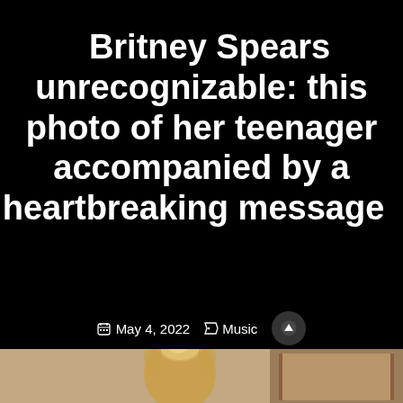Britney Spears unrecognizable: this photo of her teenager accompanied by a heartbreaking message
May 4, 2022  Music
[Figure (photo): Partial photo of a person from behind showing a blonde hair bun, near a door, cropped at the bottom of the page]